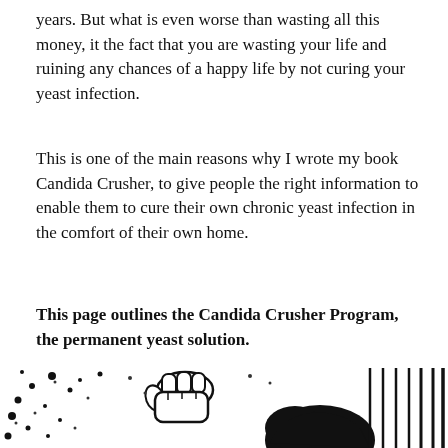years. But what is even worse than wasting all this money, it the fact that you are wasting your life and ruining any chances of a happy life by not curing your yeast infection.
This is one of the main reasons why I wrote my book Candida Crusher, to give people the right information to enable them to cure their own chronic yeast infection in the comfort of their own home.
This page outlines the Candida Crusher Program, the permanent yeast solution.
[Figure (illustration): Black and white cartoon illustration showing a fist holding a spray bottle or crusher, hitting a figure (representing yeast/Candida), with dots and motion lines scattered around, partially visible at the bottom of the page.]